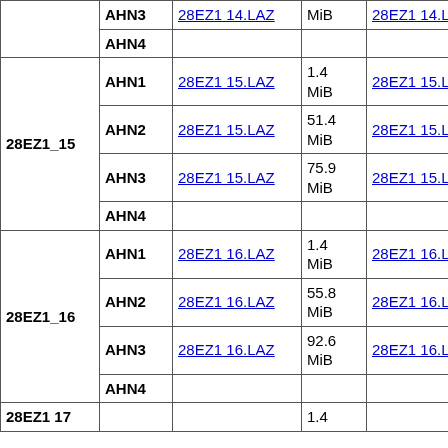| ID | AHN | LAZ file | LAZ size | LAX file | LAX size |  |
| --- | --- | --- | --- | --- | --- | --- |
|  | AHN3 | 28EZ1_14.LAZ | MiB | 28EZ1_14.LAX | kiB | 28 |
|  | AHN4 |  |  |  |  |  |
| 28EZ1_15 | AHN1 | 28EZ1_15.LAZ | 1.4 MiB | 28EZ1_15.LAX | 4 kiB | 28 |
| 28EZ1_15 | AHN2 | 28EZ1_15.LAZ | 51.4 MiB | 28EZ1_15.LAX | 98 kiB | 28 |
| 28EZ1_15 | AHN3 | 28EZ1_15.LAZ | 75.9 MiB | 28EZ1_15.LAX | 73 kiB | 28 |
| 28EZ1_15 | AHN4 |  |  |  |  |  |
| 28EZ1_16 | AHN1 | 28EZ1_16.LAZ | 1.4 MiB | 28EZ1_16.LAX | 4 kiB | 28 |
| 28EZ1_16 | AHN2 | 28EZ1_16.LAZ | 55.8 MiB | 28EZ1_16.LAX | 97 kiB | 28 |
| 28EZ1_16 | AHN3 | 28EZ1_16.LAZ | 92.6 MiB | 28EZ1_16.LAX | 84 kiB | 28 |
| 28EZ1_16 | AHN4 |  |  |  |  |  |
| 28EZ1_17 |  |  | 1.4 |  |  | 5 |